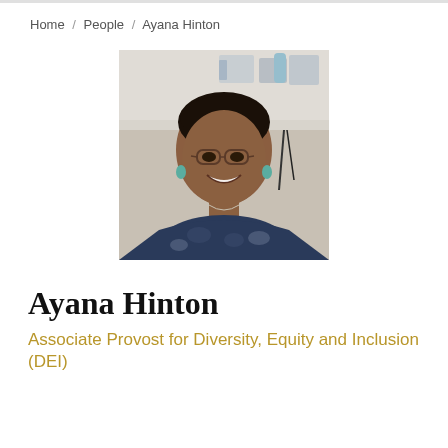Home / People / Ayana Hinton
[Figure (photo): Professional headshot of Ayana Hinton smiling in a laboratory setting, wearing glasses, teal earrings, and a navy blue patterned top.]
Ayana Hinton
Associate Provost for Diversity, Equity and Inclusion (DEI)